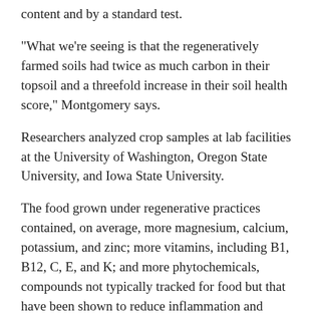content and by a standard test.
“What we’re seeing is that the regeneratively farmed soils had twice as much carbon in their topsoil and a threefold increase in their soil health score,” Montgomery says.
Researchers analyzed crop samples at lab facilities at the University of Washington, Oregon State University, and Iowa State University.
The food grown under regenerative practices contained, on average, more magnesium, calcium, potassium, and zinc; more vitamins, including B1, B12, C, E, and K; and more phytochemicals, compounds not typically tracked for food but that have been shown to reduce inflammation and boost human health.
Crops grown in the regenerative farms were also lower